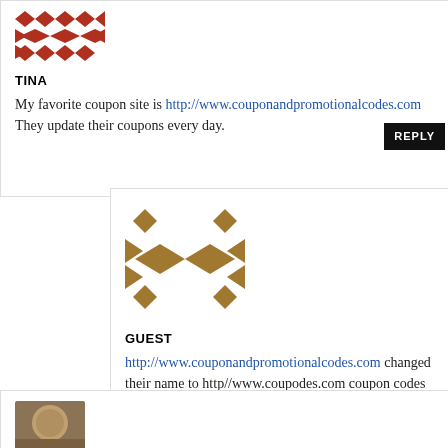[Figure (logo): Red geometric diamond/arrow pattern avatar for user TINA]
TINA
My favorite coupon site is http://www.couponandpromotionalcodes.com They update their coupons every day.
[Figure (logo): Tan/gold geometric diamond/arrow pattern avatar for user GUEST]
GUEST
http://www.couponandpromotionalcodes.com changed their name to http//www.coupodes.com coupon codes put together in their name, so coupon+codes are called Coupodes now. A little word play there.
[Figure (photo): Partial photo of a person visible at bottom of page]